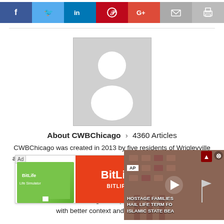[Figure (screenshot): Social share bar with Facebook, Twitter, LinkedIn, Pinterest, Google+, Email, Print buttons]
[Figure (photo): Default avatar placeholder – grey box with white silhouette of a person]
About CWBChicago > 4360 Articles
CWBChicago was created in 2013 by five residents of Wrigleyville and Boystown who had grown disheartened by inaccurate information that w... Comm... expan... Loop, Uptown, and other Nort... remains unchanged: To provide c... with better context and greater d...
[Figure (screenshot): Ad overlay with BitLife advertisement]
[Figure (screenshot): Video overlay showing AP news story: HOSTAGE FAMILIES HAIL LIFE TERM FOR ISLAMIC STATE BEA...]